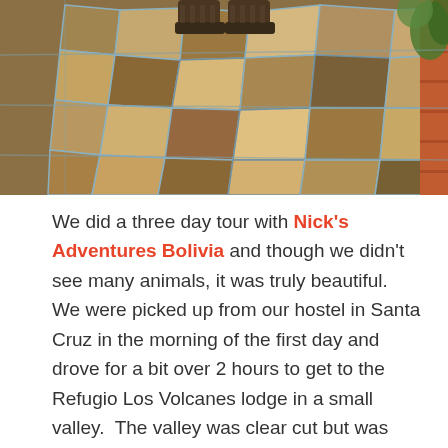[Figure (photo): Overhead view of colorful mosaic stone path/walkway with irregular shaped stones in earthy browns, oranges, greens and blues, with a person's boots visible at the top. Brick edges visible on the right side with green foliage.]
We did a three day tour with Nick's Adventures Bolivia and though we didn't see many animals, it was truly beautiful.  We were picked up from our hostel in Santa Cruz in the morning of the first day and drove for a bit over 2 hours to get to the Refugio Los Volcanes lodge in a small valley.  The valley was clear cut but was surrounded by jungle and large haystack shaped hills coloured earthy red and sage green.  The sky was overcast when we arrived, and it was misting a bit but the view compensated for the poor weather.  The drive to the lodge was rather interesting—very narrow, rocky and muddy road which required a change of vehicle